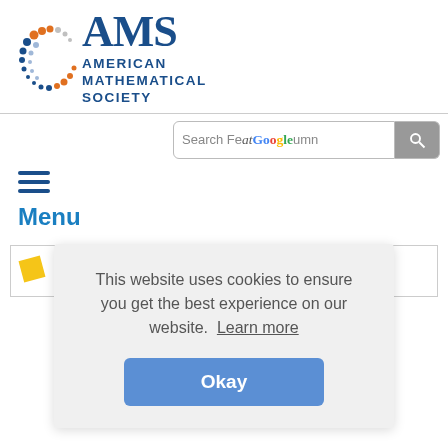[Figure (logo): American Mathematical Society logo with colorful dot pattern arc and AMS letters in dark blue, with 'AMERICAN MATHEMATICAL SOCIETY' text]
Search Feature column (search box with Google overlay text and search button)
[Figure (other): Hamburger menu icon (three horizontal blue lines)]
Menu
[Figure (illustration): Colorful banner with science/math themed illustrations: geometric shapes, lab flask, purple creature, green sphere, geometric network]
This website uses cookies to ensure you get the best experience on our website.  Learn more
Okay